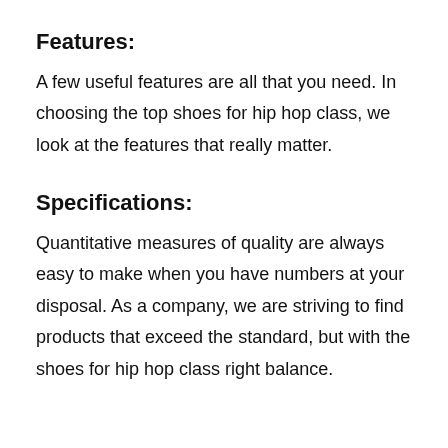Features:
A few useful features are all that you need. In choosing the top shoes for hip hop class, we look at the features that really matter.
Specifications:
Quantitative measures of quality are always easy to make when you have numbers at your disposal. As a company, we are striving to find products that exceed the standard, but with the shoes for hip hop class right balance.